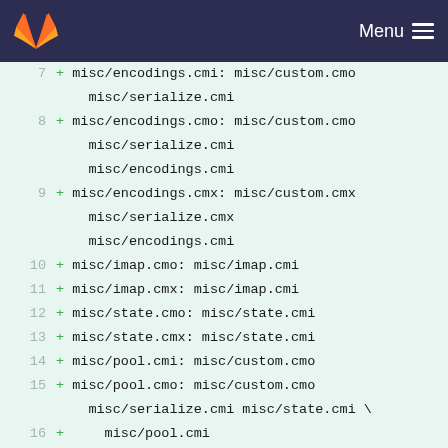GitLab — Menu
7  + misc/encodings.cmi: misc/custom.cmo misc/serialize.cmi
8  + misc/encodings.cmo: misc/custom.cmo misc/serialize.cmi misc/encodings.cmi
9  + misc/encodings.cmx: misc/custom.cmx misc/serialize.cmx misc/encodings.cmi
10 + misc/imap.cmo: misc/imap.cmi
11 + misc/imap.cmx: misc/imap.cmi
12 + misc/state.cmo: misc/state.cmi
13 + misc/state.cmx: misc/state.cmi
14 + misc/pool.cmi: misc/custom.cmo
15 + misc/pool.cmo: misc/custom.cmo misc/serialize.cmi misc/state.cmi \
16 +     misc/pool.cmi
17 + misc/pool.cmx: misc/custom.cmx misc/serialize.cmx misc/state.cmx \
18 +     misc/pool.cmi
19 + misc/ns.cmi: misc/custom.cmo